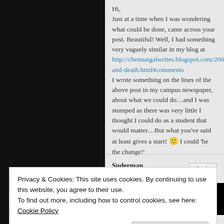Hi,
Just at a time when I was wondering what could be done, came across your post. Beautiful! Well, I had something very vaguely similar in my blog at http://chennaigalwrites.blogspot.com/2006/02/war-and-death.html#comments I wrote something on the lines of the above post in my campus newspaper, about what we could do…and I was stumped as there was very little I thought I could do as a student that would matter…But what you've said at least gives a start! 🙂 I could 'be the change!'
Suderman
February 14, 2006
Privacy & Cookies: This site uses cookies. By continuing to use this website, you agree to their use.
To find out more, including how to control cookies, see here: Cookie Policy
Close and accept
sometimes even till midnight